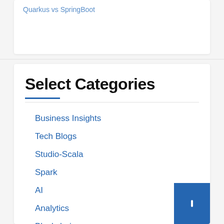Quarkus vs SpringBoot
Select Categories
Business Insights
Tech Blogs
Studio-Scala
Spark
AI
Analytics
Blockchain